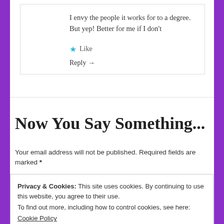I envy the people it works for to a degree. But yep! Better for me if I don't
★ Like
Reply →
Now You Say Something...
Your email address will not be published. Required fields are marked *
Privacy & Cookies: This site uses cookies. By continuing to use this website, you agree to their use.
To find out more, including how to control cookies, see here: Cookie Policy
Close and accept